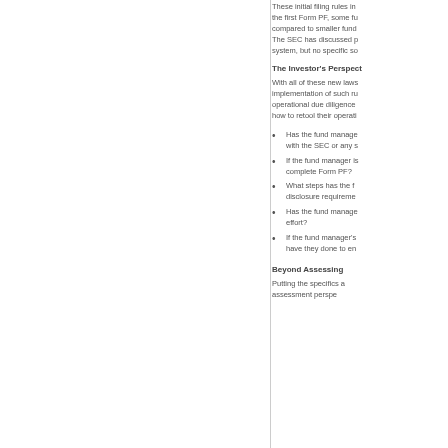These initial filing rules in the first Form PF, some fu compared to smaller funds The SEC has discussed p system, but no specific so
The Investor's Perspect
With all of these new laws implementation of such ru operational due diligence how to retool their operati
Has the fund manage with the SEC or any s
If the fund manager is complete Form PF?
What steps has the f disclosure requireme
Has the fund manage effort?
If the fund manager's have they done to en
Beyond Assessing
Putting the specifics a assessment perspe